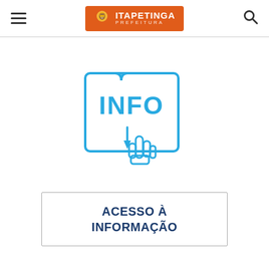ITAPETINGA PREFEITURA
[Figure (illustration): Blue outline icon showing a ticket/card shape with 'INFO' text in bold blue letters and a pointing hand/finger icon below it, indicating information access.]
ACESSO À INFORMAÇÃO